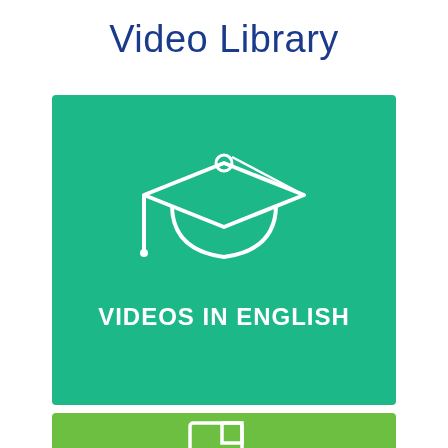Video Library
[Figure (illustration): Teal/green rectangular button with graduation cap icon and text 'VIDEOS IN ENGLISH' in white bold uppercase letters]
[Figure (illustration): Green rectangular button partially visible at bottom with a document/export icon]